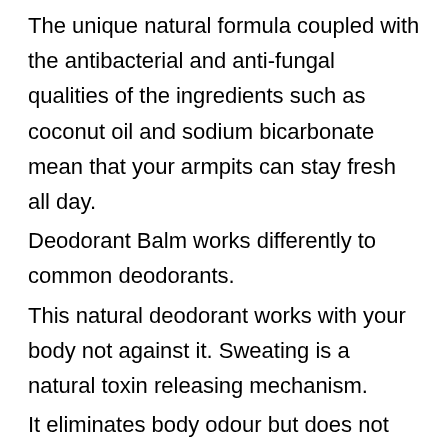The unique natural formula coupled with the antibacterial and anti-fungal qualities of the ingredients such as coconut oil and sodium bicarbonate mean that your armpits can stay fresh all day.
Deodorant Balm works differently to common deodorants.
This natural deodorant works with your body not against it. Sweating is a natural toxin releasing mechanism.
It eliminates body odour but does not block the pores, allowing the body to naturally sweat, unlike common antiperspirant deodorants.